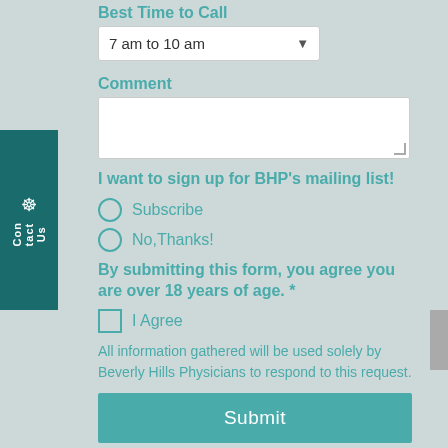Best Time to Call
7 am to 10 am
Comment
I want to sign up for BHP's mailing list!
Subscribe
No,Thanks!
By submitting this form, you agree you are over 18 years of age. *
I Agree
All information gathered will be used solely by Beverly Hills Physicians to respond to this request.
Submit